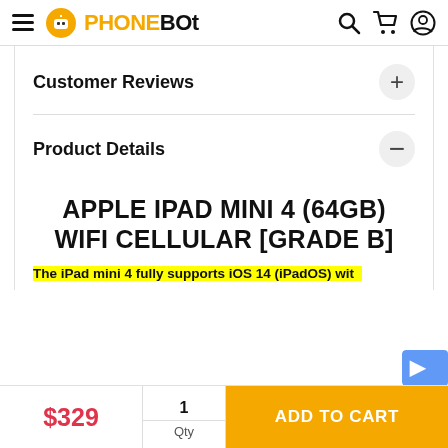PHONEBOT
Customer Reviews
Product Details
APPLE IPAD MINI 4 (64GB) WIFI CELLULAR [GRADE B]
The iPad mini 4 fully supports iOS 14 (iPadOS) with
$329
1
Qty
ADD TO CART